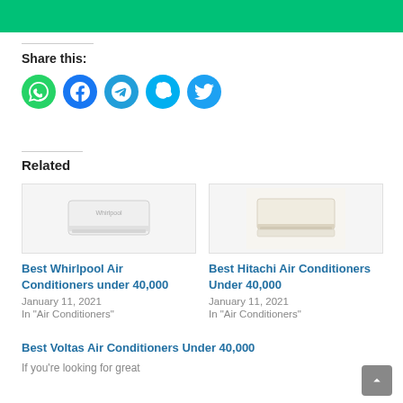[Figure (other): Green banner header bar at top of page]
Share this:
[Figure (infographic): Row of social sharing icon circles: WhatsApp (green), Facebook (blue), Telegram (blue), Skype (light blue), Twitter (blue)]
Related
[Figure (photo): Photo of a Whirlpool wall-mounted split air conditioner unit, white color]
Best Whirlpool Air Conditioners under 40,000
January 11, 2021
In "Air Conditioners"
[Figure (photo): Photo of a Hitachi wall-mounted split air conditioner unit, white/cream color]
Best Hitachi Air Conditioners Under 40,000
January 11, 2021
In "Air Conditioners"
Best Voltas Air Conditioners Under 40,000
If you're looking for great